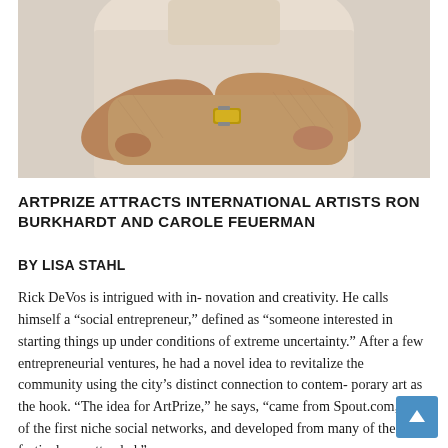[Figure (photo): Close-up photo of a man with arms crossed, wearing a beige/cream colored shirt and a gold watch, torso and arms visible against a light background.]
ARTPRIZE ATTRACTS INTERNATIONAL ARTISTS RON BURKHARDT AND CAROLE FEUERMAN
BY LISA STAHL
Rick DeVos is intrigued with in- novation and creativity. He calls himself a “social entrepreneur,” defined as “someone interested in starting things up under conditions of extreme uncertainty.” After a few entrepreneurial ventures, he had a novel idea to revitalize the community using the city’s distinct connection to contem- porary art as the hook. “The idea for ArtPrize,” he says, “came from Spout.com, one of the first niche social networks, and developed from many of the film festivals we attended.”